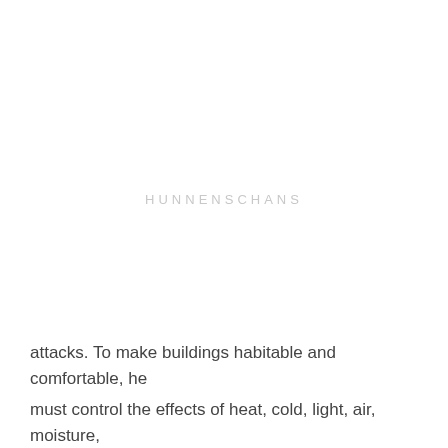[Figure (other): Watermark text reading HUNNENSCHANS centered on a mostly blank white page]
attacks. To make buildings habitable and comfortable, he must control the effects of heat, cold, light, air, moisture,